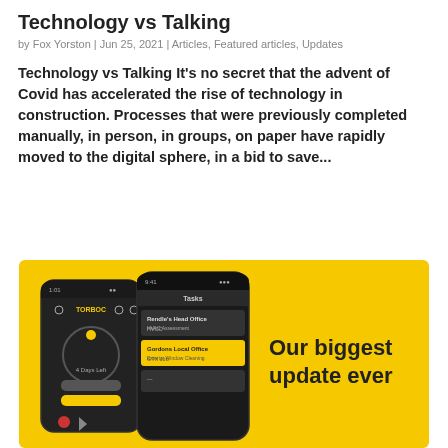Technology vs Talking
by Fox Yorston | Jun 25, 2021 | Articles, Featured articles, Updates
Technology vs Talking It’s no secret that the advent of Covid has accelerated the rise of technology in construction. Processes that were previously completed manually, in person, in groups, on paper have rapidly moved to the digital sphere, in a bid to save...
[Figure (screenshot): Yellow background promo card showing two dark smartphones displaying the TOBBOC app interface, with text 'Our biggest update ever' on the right side.]